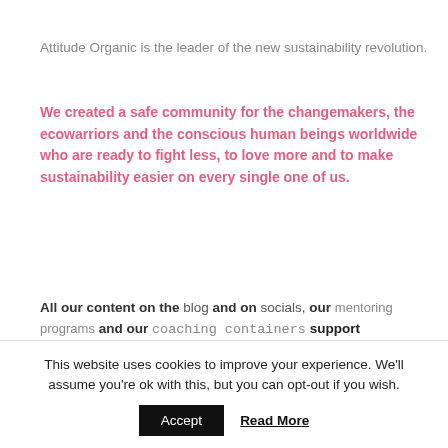Attitude Organic is the leader of the new sustainability revolution.
We created a safe community for the changemakers, the ecowarriors and the conscious human beings worldwide who are ready to fight less, to love more and to make sustainability easier on every single one of us.
All our content on the blog and on socials, our mentoring programs and our coaching containers support sustainability from the inside out.
As Seen In
This website uses cookies to improve your experience. We'll assume you're ok with this, but you can opt-out if you wish. Accept Read More